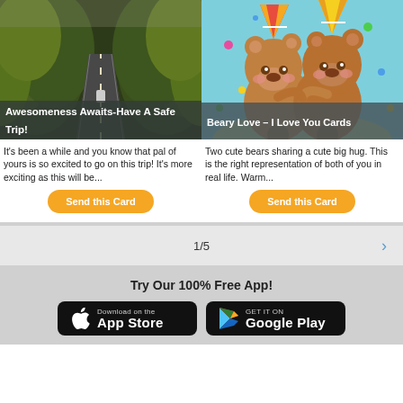[Figure (photo): Aerial view of a road through autumn forest, with a car on the road. Overlay title: 'Awesomeness Awaits-Have A Safe Trip!']
[Figure (illustration): Two cute cartoon bears hugging, wearing party hats, on a teal background with confetti. Overlay title: 'Beary Love – I Love You Cards']
It's been a while and you know that pal of yours is so excited to go on this trip! It's more exciting as this will be...
Two cute bears sharing a cute big hug. This is the right representation of both of you in real life. Warm...
Send this Card
Send this Card
1/5
Try Our 100% Free App!
Download on the App Store
GET IT ON Google Play